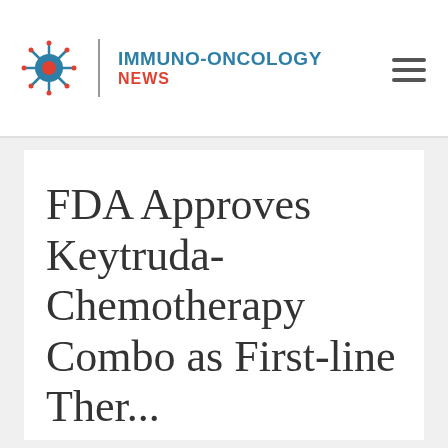IMMUNO-ONCOLOGY NEWS
FDA Approves Keytruda-Chemotherapy Combo as First-line Therapy for NSCLC